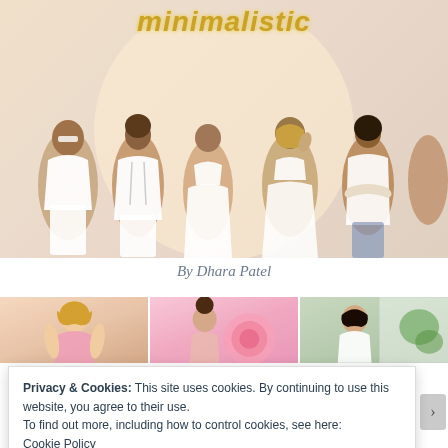[Figure (photo): Fashion photo of six women in white minimalist outfits posing together, with glitter text 'minimalistic' at the top of the image on a warm beige background]
By Dhara Patel
[Figure (photo): Three thumbnail photos side by side: left shows a blonde woman in a pink top, middle shows a woman with a large pink flower on a pink background, right shows a woman with dark hair near a window with greenery]
Privacy & Cookies: This site uses cookies. By continuing to use this website, you agree to their use.
To find out more, including how to control cookies, see here:
Cookie Policy